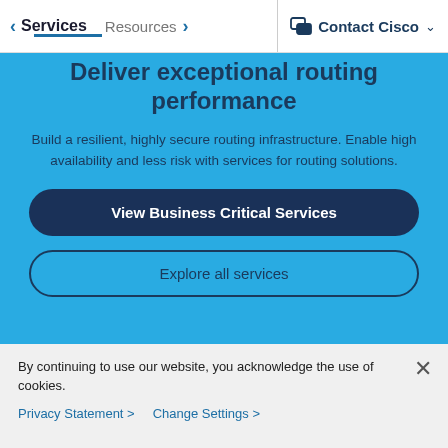< Services   Resources >   Contact Cisco v
Deliver exceptional routing performance
Build a resilient, highly secure routing infrastructure. Enable high availability and less risk with services for routing solutions.
View Business Critical Services
Explore all services
By continuing to use our website, you acknowledge the use of cookies.
Privacy Statement >   Change Settings >